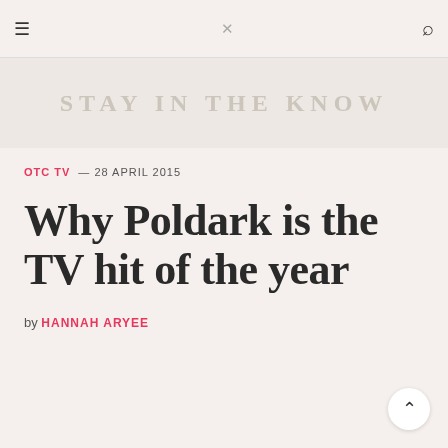≡  ✕  🔍
[Figure (other): Subscribe/Stay in the Know banner with faded text on beige background]
OTC TV — 28 APRIL 2015
Why Poldark is the TV hit of the year
by HANNAH ARYEE